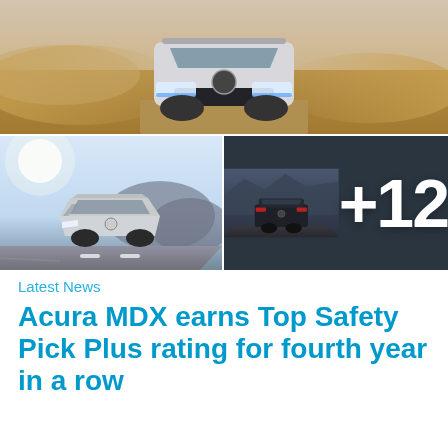[Figure (photo): Top photo: Acura MDX SUV driving on a dusty dirt road, kicking up large cloud of sand/dust, front view, dramatic action shot.]
[Figure (photo): Bottom-left photo: Silver Acura MDX SUV driving on a coastal highway with rocky hills in the background, side-front view.]
[Figure (photo): Bottom-right photo: Dark Acura MDX SUV on a road with mountains and sky in background, rear-side view, with large white '+12' overlay text indicating more photos.]
Latest News
Acura MDX earns Top Safety Pick Plus rating for fourth year in a row